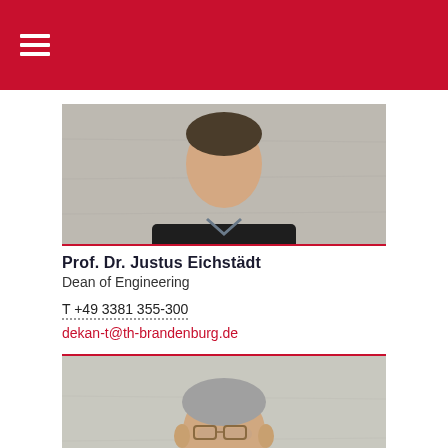[Figure (other): Red navigation header bar with hamburger menu icon (three white horizontal lines)]
[Figure (photo): Professional portrait photo of Prof. Dr. Justus Eichstädt, a man in a dark suit with light blue shirt, upper body visible against a concrete background]
Prof. Dr. Justus Eichstädt
Dean of Engineering
T +49 3381 355-300
dekan-t@th-brandenburg.de
[Figure (photo): Professional portrait photo of a second man with short grey hair and glasses, smiling, wearing a white shirt, against a concrete background]